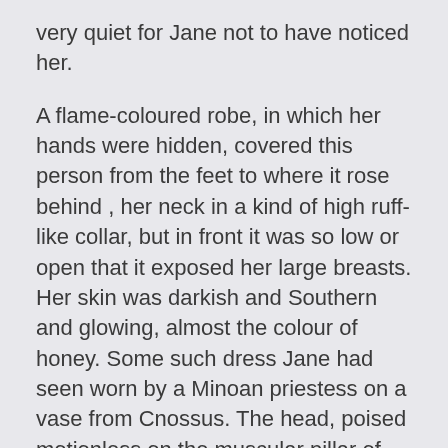very quiet for Jane not to have noticed her.

A flame-coloured robe, in which her hands were hidden, covered this person from the feet to where it rose behind , her neck in a kind of high ruff-like collar, but in front it was so low or open that it exposed her large breasts. Her skin was darkish and Southern and glowing, almost the colour of honey. Some such dress Jane had seen worn by a Minoan priestess on a vase from Cnossus. The head, poised motionless on the muscular pillar of her neck, stared straight at Jane. It was a red-cheeked, wet-lipped face, with black eyes-almost the eyes of a cow-and an enigmatic expression. It was not by ordinary standards at all like the face of Mother Dimble; but Jane recognised it. It was Mother Dimble's